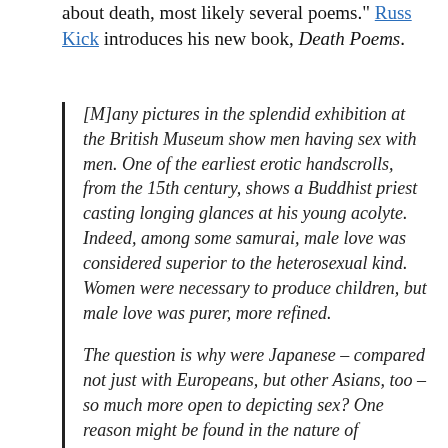about death, most likely several poems." Russ Kick introduces his new book, Death Poems.
[M]any pictures in the splendid exhibition at the British Museum show men having sex with men. One of the earliest erotic handscrolls, from the 15th century, shows a Buddhist priest casting longing glances at his young acolyte. Indeed, among some samurai, male love was considered superior to the heterosexual kind. Women were necessary to produce children, but male love was purer, more refined.
The question is why were Japanese – compared not just with Europeans, but other Asians, too – so much more open to depicting sex? One reason might be found in the nature of Japanese religion. The oldest native ritual tradition, Shinto, was, like most ancient cults, a